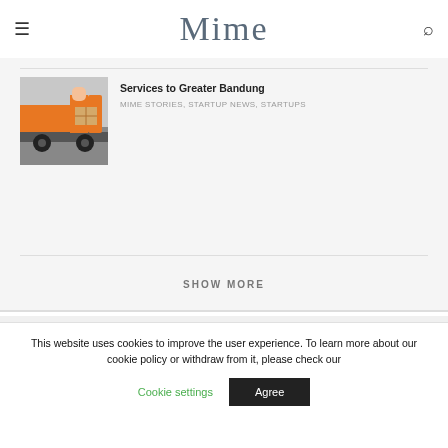Mime
[Figure (photo): Delivery workers in orange uniforms loading packages near a vehicle]
Services to Greater Bandung
MIME STORIES, STARTUP NEWS, STARTUPS
SHOW MORE
Advertisement
This website uses cookies to improve the user experience. To learn more about our cookie policy or withdraw from it, please check our
Cookie settings
Agree